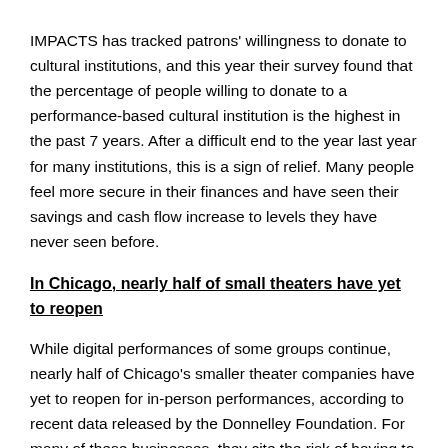IMPACTS has tracked patrons' willingness to donate to cultural institutions, and this year their survey found that the percentage of people willing to donate to a performance-based cultural institution is the highest in the past 7 years. After a difficult end to the year last year for many institutions, this is a sign of relief. Many people feel more secure in their finances and have seen their savings and cash flow increase to levels they have never seen before.
In Chicago, nearly half of small theaters have yet to reopen
While digital performances of some groups continue, nearly half of Chicago's smaller theater companies have yet to reopen for in-person performances, according to recent data released by the Donnelley Foundation. For many of these businesses, they cite the risk of having to close a second time as too high to try and reopen until they are absolutely certain they are safe. The